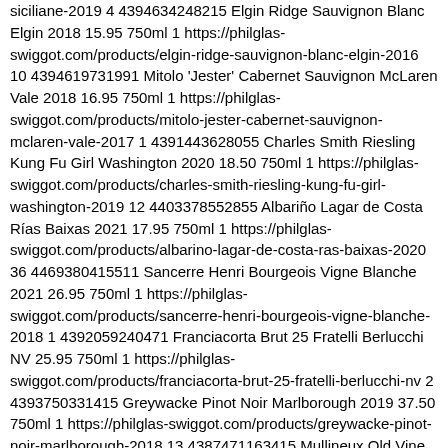siciliane-2019 4 4394634248215 Elgin Ridge Sauvignon Blanc Elgin 2018 15.95 750ml 1 https://philglas-swiggot.com/products/elgin-ridge-sauvignon-blanc-elgin-2016 10 4394619731991 Mitolo 'Jester' Cabernet Sauvignon McLaren Vale 2018 16.95 750ml 1 https://philglas-swiggot.com/products/mitolo-jester-cabernet-sauvignon-mclaren-vale-2017 1 4391443628055 Charles Smith Riesling Kung Fu Girl Washington 2020 18.50 750ml 1 https://philglas-swiggot.com/products/charles-smith-riesling-kung-fu-girl-washington-2019 12 4403378552855 Albariño Lagar de Costa Rías Baixas 2021 17.95 750ml 1 https://philglas-swiggot.com/products/albarino-lagar-de-costa-ras-baixas-2020 36 4469380415511 Sancerre Henri Bourgeois Vigne Blanche 2021 26.95 750ml 1 https://philglas-swiggot.com/products/sancerre-henri-bourgeois-vigne-blanche-2018 1 4392059240471 Franciacorta Brut 25 Fratelli Berlucchi NV 25.95 750ml 1 https://philglas-swiggot.com/products/franciacorta-brut-25-fratelli-berlucchi-nv 2 4393750331415 Greywacke Pinot Noir Marlborough 2019 37.50 750ml 1 https://philglas-swiggot.com/products/greywacke-pinot-noir-marlborough-2018 13 4387471163415 Mullineux Old Vine White Swartland 2020 26.50 750ml 1 https://philglas-swiggot.com/products/mullineux-old-vine-white-swartland-2019 6 4392665251863 Fleurie 'Les Moriers' Domaine Chignard 2018 21.50 750ml 1 https://philglas-swiggot.com/products/fleurie-les-moriers-domaine-chignard-2018 10 4397274890263 Dandelion Shiraz 'Lionheart of the Barossa'